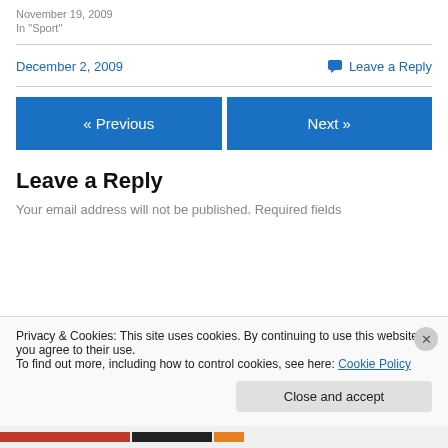November 19, 2009
In "Sport"
December 2, 2009
💬 Leave a Reply
« Previous
Next »
Leave a Reply
Your email address will not be published. Required fields
Privacy & Cookies: This site uses cookies. By continuing to use this website, you agree to their use.
To find out more, including how to control cookies, see here: Cookie Policy
Close and accept